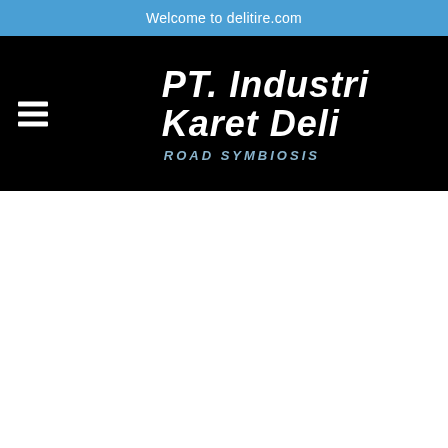Welcome to delitire.com
[Figure (logo): PT. Industri Karet Deli logo with hamburger menu icon on black background. Large bold italic white text reading 'PT. Industri Karet Deli' with tagline 'ROAD SYMBIOSIS' in blue-grey italic text below.]